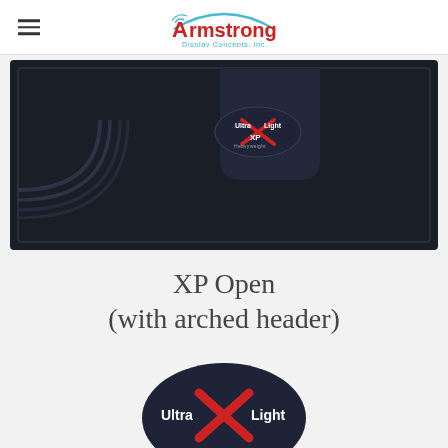Armstrong Display Concepts, Inc.
[Figure (photo): Dark navy/black display panel (XP Open with arched header) shown folded flat, with an UltraXLight XP oval logo sticker in the center]
XP Open
(with arched header)
[Figure (logo): UltraXLight logo: dark oval badge with red X and white text 'Ultra Light']